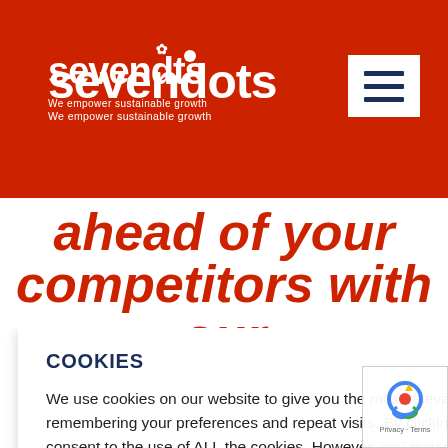[Figure (logo): Sevendots logo - white text on red background with tagline 'We empower sustainable growth']
[Figure (other): Hamburger menu button - white square with three dark blue horizontal lines]
ahead of your competitors with our
way in the
e power to
out key
ur Growth
COOKIES

We use cookies on our website to give you the most relevant experience by remembering your preferences and repeat visits. By clicking "Accept All", you consent to the use of ALL the cookies. However, you may visit "Cookie Settings" to provide a controlled consent.
Cookie Settings
Accept All
[Figure (other): Google reCAPTCHA badge with logo and 'Privacy - Terms' text]